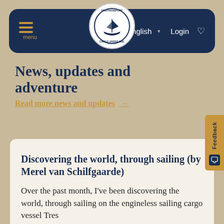[Figure (logo): Fairtransport Cargo Under Sail circular logo with sailing ship illustration]
menu | English | Login
News, updates and adventure
Read more news and updates →
Discovering the world, through sailing (by Merel van Schilfgaarde)
Over the past month, I've been discovering the world, through sailing on the engineless sailing cargo vessel Tres